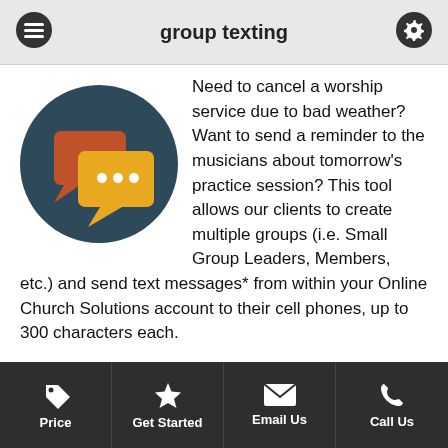group texting
[Figure (illustration): Dark teal circle with two overlapping speech bubble icons — one orange/red behind, one yellow-orange in front with three white dots inside]
Need to cancel a worship service due to bad weather? Want to send a reminder to the musicians about tomorrow’s practice session? This tool allows our clients to create multiple groups (i.e. Small Group Leaders, Members, etc.) and send text messages* from within your Online Church Solutions account to their cell phones, up to 300 characters each.
Easy signup form included for text message groups so members can sign up right from your website, meaning
Price | Get Started | Email Us | Call Us